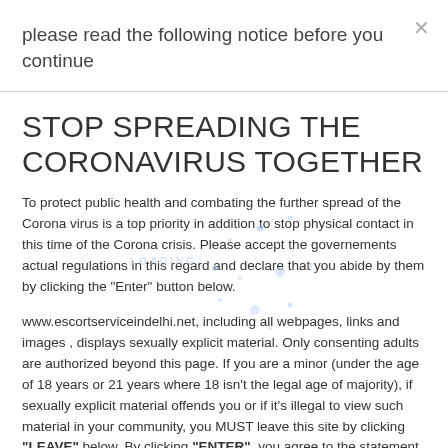please read the following notice before you continue
STOP SPREADING THE CORONAVIRUS TOGETHER
To protect public health and combating the further spread of the Corona virus is a top priority in addition to stop physical contact in this time of the Corona crisis. Please accept the governements actual regulations in this regard and declare that you abide by them by clicking the "Enter" button below.
www.escortserviceindelhi.net, including all webpages, links and images , displays sexually explicit material. Only consenting adults are authorized beyond this page. If you are a minor (under the age of 18 years or 21 years where 18 isn't the legal age of majority), if sexually explicit material offends you or if it's illegal to view such material in your community, you MUST leave this site by clicking "LEAVE" below. By clicking "ENTER", you agree to the statement at the bottom of this page. By entering www.escortserviceindelhi.net you agree that: